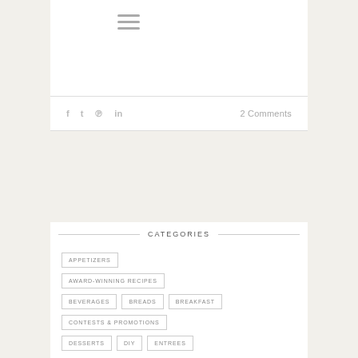≡ (hamburger menu icon)
f  t  P  in    2 Comments
CATEGORIES
APPETIZERS
AWARD-WINNING RECIPES
BEVERAGES
BREADS
BREAKFAST
CONTESTS & PROMOTIONS
DESSERTS
DIY
ENTREES